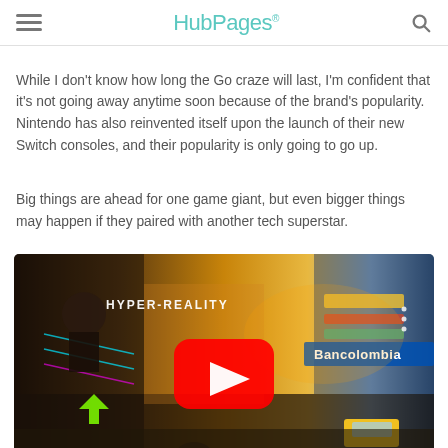HubPages
While I don't know how long the Go craze will last, I'm confident that it's not going away anytime soon because of the brand's popularity. Nintendo has also reinvented itself upon the launch of their new Switch consoles, and their popularity is only going to go up.
Big things are ahead for one game giant, but even bigger things may happen if they paired with another tech superstar.
[Figure (screenshot): YouTube video thumbnail for 'HYPER-REALITY' showing a busy city street with augmented reality overlays, neon signs including 'Bancolombia', with a red YouTube play button in the center.]